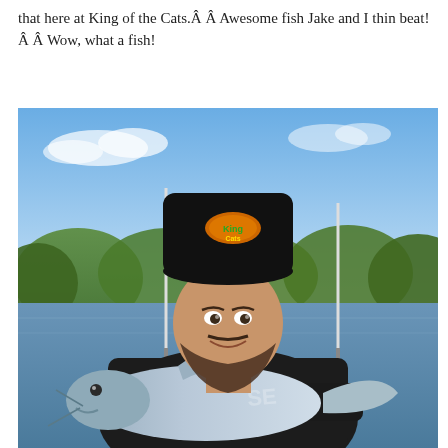that here at King of the Cats.Â Â  Awesome fish Jake and I thin beat!Â Â  Wow, what a fish!
[Figure (photo): A smiling man wearing a black baseball cap with a logo holding a large catfish in front of a river with trees and blue sky in the background.]